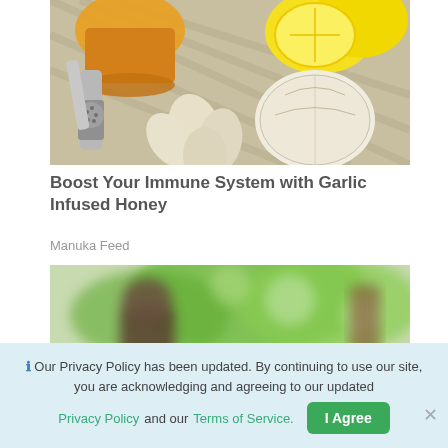[Figure (photo): Photo of garlic cloves, a garlic press, lemon halves, and a jar of honey on a striped surface]
Boost Your Immune System with Garlic Infused Honey
Manuka Feed
[Figure (photo): Blurred outdoor photo showing a person or animal in a garden/outdoor setting with green trees in background]
ℹ Our Privacy Policy has been updated. By continuing to use our site, you are acknowledging and agreeing to our updated Privacy Policy and our Terms of Service.
I Agree